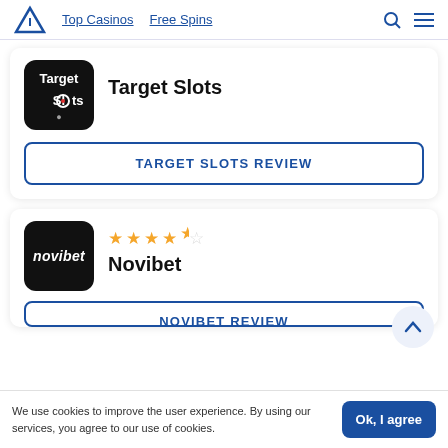Top Casinos  Free Spins
[Figure (screenshot): Target Slots casino logo – black rounded square with white text 'Target Slots' and red target icon]
Target Slots
TARGET SLOTS REVIEW
[Figure (screenshot): Novibet casino logo – black rounded square with white italic text 'novibet']
4.5 stars rating
Novibet
NOVIBET REVIEW
We use cookies to improve the user experience. By using our services, you agree to our use of cookies.